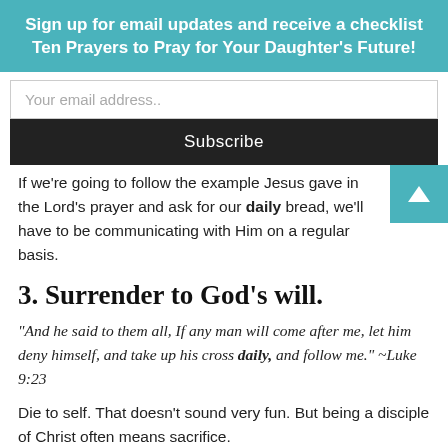Sign up for email updates and receive a checklist Ten Prayers to Pray for Your Daughter's Future!
Your email address..
Subscribe
If we're going to follow the example Jesus gave in the Lord's prayer and ask for our daily bread, we'll have to be communicating with Him on a regular basis.
3. Surrender to God's will.
"And he said to them all, If any man will come after me, let him deny himself, and take up his cross daily, and follow me." ~Luke 9:23
Die to self. That doesn't sound very fun. But being a disciple of Christ often means sacrifice.